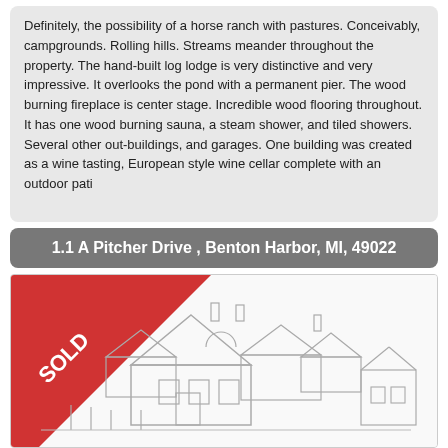Definitely, the possibility of a horse ranch with pastures. Conceivably, campgrounds. Rolling hills. Streams meander throughout the property. The hand-built log lodge is very distinctive and very impressive. It overlooks the pond with a permanent pier. The wood burning fireplace is center stage. Incredible wood flooring throughout. It has one wood burning sauna, a steam shower, and tiled showers. Several other out-buildings, and garages. One building was created as a wine tasting, European style wine cellar complete with an outdoor pati
1.1 A Pitcher Drive , Benton Harbor, MI, 49022
[Figure (illustration): A line drawing illustration of a large house with multiple gabled roofs and chimneys. A red 'SOLD' banner ribbon is overlaid in the top-left corner of the image.]